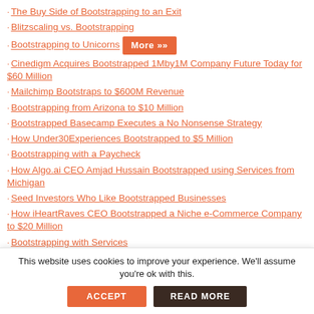The Buy Side of Bootstrapping to an Exit
Blitzscaling vs. Bootstrapping
Bootstrapping to Unicorns [More »»»]
Cinedigm Acquires Bootstrapped 1Mby1M Company Future Today for $60 Million
Mailchimp Bootstraps to $600M Revenue
Bootstrapping from Arizona to $10 Million
Bootstrapped Basecamp Executes a No Nonsense Strategy
How Under30Experiences Bootstrapped to $5 Million
Bootstrapping with a Paycheck
How Algo.ai CEO Amjad Hussain Bootstrapped using Services from Michigan
Seed Investors Who Like Bootstrapped Businesses
How iHeartRaves CEO Bootstrapped a Niche e-Commerce Company to $20 Million
Bootstrapping with Services
How The Intern Group CEO David Lloyd Bootstrapped to $13 Million
How Passageways CEO Paroon Chadha Bootstrapped from
This website uses cookies to improve your experience. We'll assume you're ok with this.
ACCEPT
READ MORE